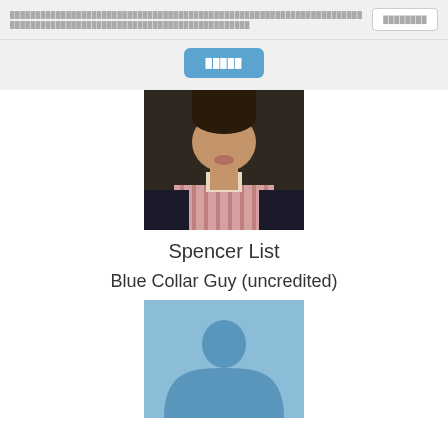████████████████████████████████████████████████████████████████████████████████████████████████████████ ████████
[Figure (photo): Blue button with pixel/block text on gray background]
[Figure (photo): Photo of Spencer List, a young man wearing a striped shirt and dark jacket, cropped at forehead]
Spencer List
Blue Collar Guy (uncredited)
[Figure (photo): Placeholder image with blue background, silhouette of a person, and text NO IMAGE]